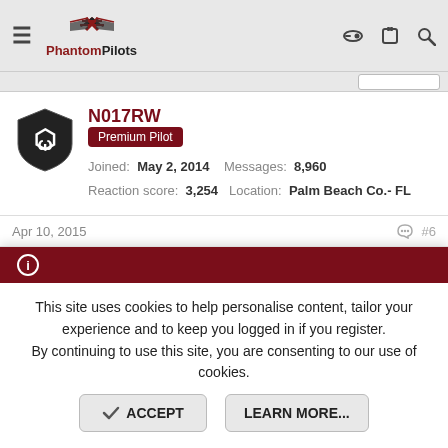PhantomPilots
N017RW
Premium Pilot
Joined: May 2, 2014  Messages: 8,960
Reaction score: 3,254  Location: Palm Beach Co.- FL
Apr 10, 2015  #6
Fourblade said:
Whilst it would be nice to be order number 1 I'm quite happy to be a bit further down the line at 4770 so that "if" there are any "teething"
This site uses cookies to help personalise content, tailor your experience and to keep you logged in if you register.
By continuing to use this site, you are consenting to our use of cookies.